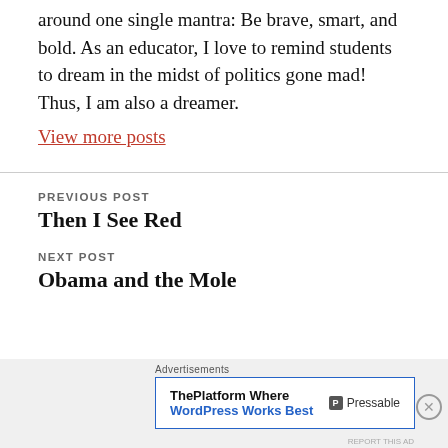around one single mantra: Be brave, smart, and bold. As an educator, I love to remind students to dream in the midst of politics gone mad! Thus, I am also a dreamer.
View more posts
PREVIOUS POST
Then I See Red
NEXT POST
Obama and the Mole
Advertisements
ThePlatform Where WordPress Works Best  P Pressable